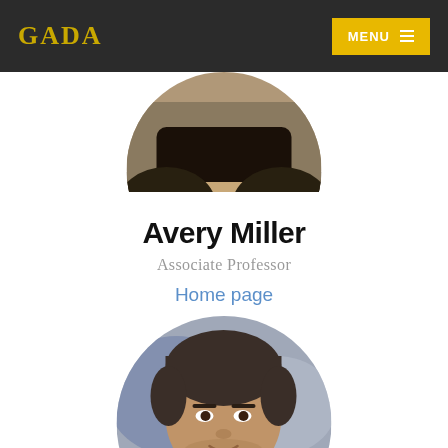GADA | MENU
[Figure (photo): Partial circular profile photo of a person, cropped at top of page, showing lower portion of a circular avatar]
Avery Miller
Associate Professor
Home page
[Figure (photo): Circular profile photo of a man with dark hair, wearing a blue jacket, photographed in front of a blurred background]